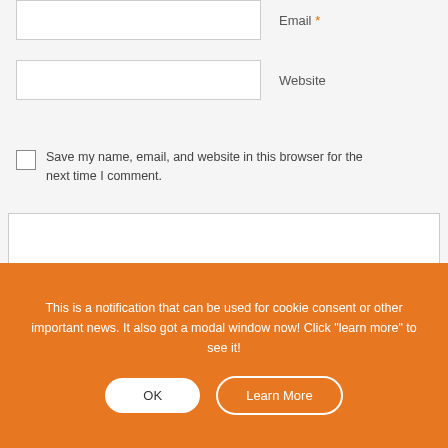Email *
Website
Save my name, email, and website in this browser for the next time I comment.
This is a notification that can be used for cookie consent or other important news. It also got a modal window now! Click "learn more" to see it!
OK
Learn More